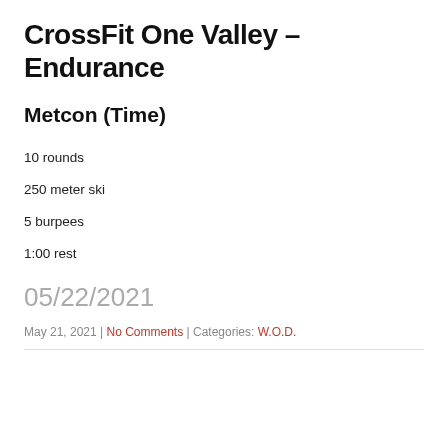CrossFit One Valley – Endurance
Metcon (Time)
10 rounds
250 meter ski
5 burpees
1:00 rest
05/22/2021
May 21, 2021 | No Comments | Categories: W.O.D.